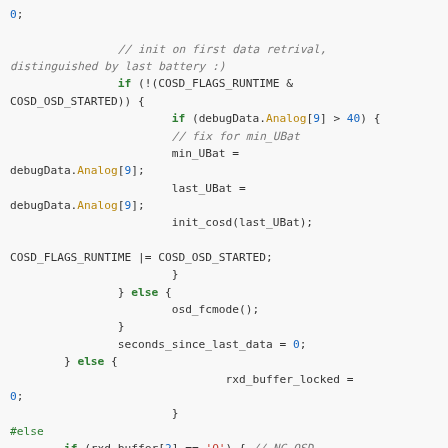Source code snippet showing C/embedded code with conditional logic for COSD OSD initialization, battery checking, and buffer handling.